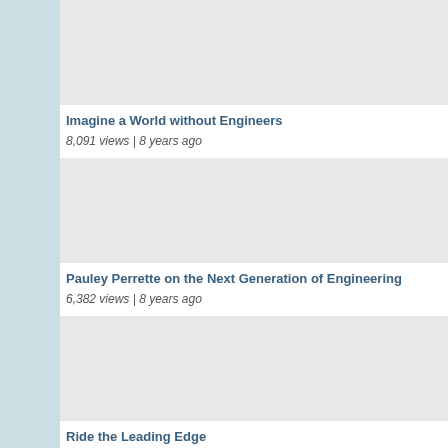[Figure (screenshot): Video thumbnail placeholder (grey rectangle) for 'Imagine a World without Engineers']
Imagine a World without Engineers
8,091 views | 8 years ago
[Figure (screenshot): Video thumbnail placeholder (grey rectangle) for 'Pauley Perrette on the Next Generation of Engineering']
Pauley Perrette on the Next Generation of Engineering
6,382 views | 8 years ago
[Figure (screenshot): Video thumbnail placeholder (grey rectangle) for 'Ride the Leading Edge']
Ride the Leading Edge
6,488 views | 8 years ago